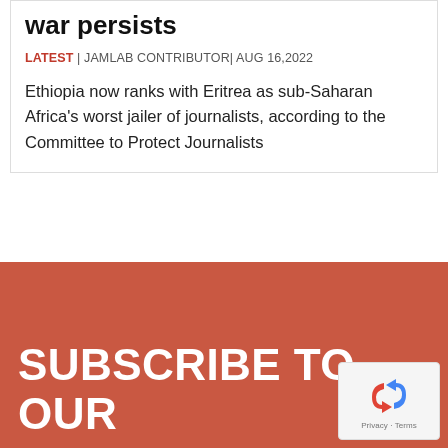war persists
LATEST | JAMLAB CONTRIBUTOR| AUG 16,2022
Ethiopia now ranks with Eritrea as sub-Saharan Africa's worst jailer of journalists, according to the Committee to Protect Journalists
SUBSCRIBE TO OUR